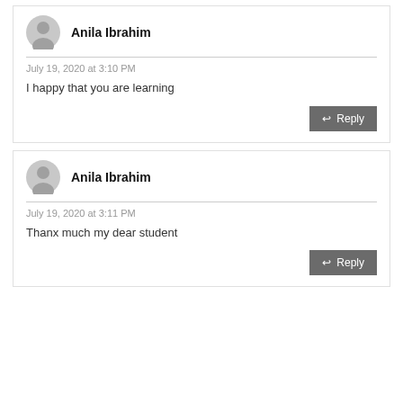Anila Ibrahim
July 19, 2020 at 3:10 PM
I happy that you are learning
Reply
Anila Ibrahim
July 19, 2020 at 3:11 PM
Thanx much my dear student
Reply